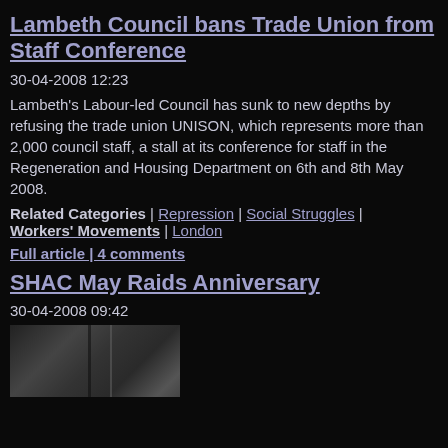Lambeth Council bans Trade Union from Staff Conference
30-04-2008 12:23
Lambeth's Labour-led Council has sunk to new depths by refusing the trade union UNISON, which represents more than 2,000 council staff, a stall at its conference for staff in the Regeneration and Housing Department on 6th and 8th May 2008.
Related Categories | Repression | Social Struggles | Workers' Movements | London
Full article | 4 comments
SHAC May Raids Anniversary
30-04-2008 09:42
[Figure (photo): A dark photo showing what appears to be a doorway or window frame]